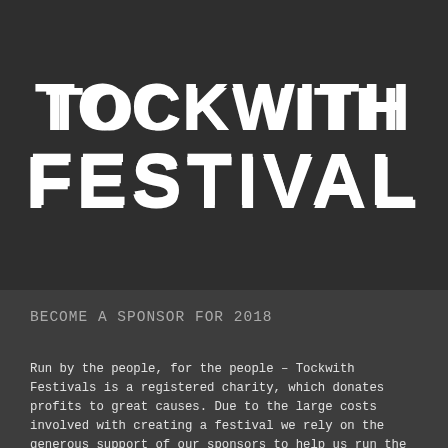TOCKWITH FESTIVAL
BECOME A SPONSOR FOR 2018
Run by the people, for the people – Tockwith Festivals is a registered charity, which donates profits to great causes. Due to the large costs involved with creating a festival we rely on the generous support of our sponsors to help us run the festival each year.